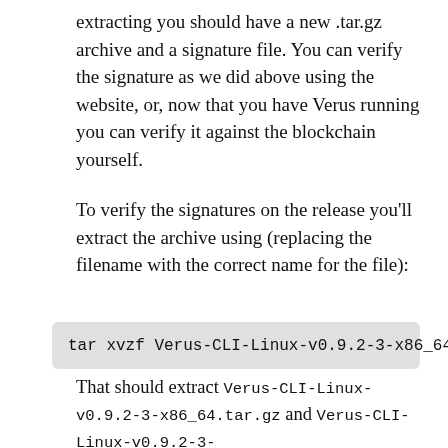extracting you should have a new .tar.gz archive and a signature file. You can verify the signature as we did above using the website, or, now that you have Verus running you can verify it against the blockchain yourself.
To verify the signatures on the release you'll extract the archive using (replacing the filename with the correct name for the file):
That should extract Verus-CLI-Linux-v0.9.2-3-x86_64.tar.gz and Verus-CLI-Linux-v0.9.2-3-x86_64.tar.gz.signature.txt.